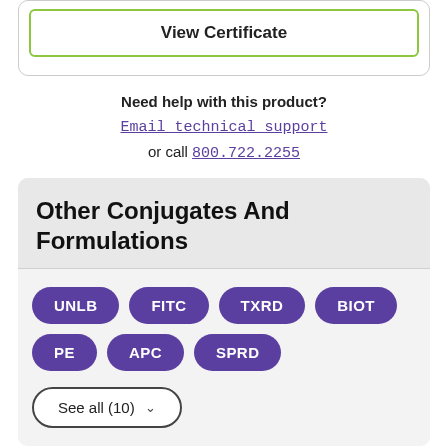View Certificate
Need help with this product?
Email technical support
or call 800.722.2255
Other Conjugates And Formulations
UNLB  FITC  TXRD  BIOT  PE  APC  SPRD
See all (10)